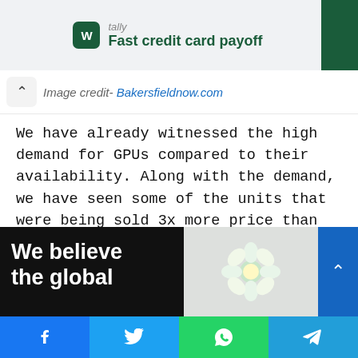[Figure (screenshot): Tally app advertisement banner with green logo and text 'Fast credit card payoff']
Image credit- Bakersfieldnow.com
We have already witnessed the high demand for GPUs compared to their availability. Along with the demand, we have seen some of the units that were being sold 3x more price than their MSRP. The reason for such issues is the fact that the chips are not available as compared to the increasing demand.
[Figure (screenshot): Bottom image row: black panel with text 'We believe the global' and a gray panel with flower/object, and blue scroll-up button]
[Figure (screenshot): Social share bar with Facebook, Twitter, WhatsApp, and Telegram buttons]